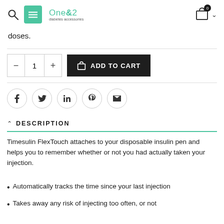One&2 diabetes accessories
doses.
ADD TO CART — quantity selector with minus and plus buttons
[Figure (other): Social share icons: Facebook, Twitter, LinkedIn, Pinterest, Email]
DESCRIPTION
Timesulin FlexTouch attaches to your disposable insulin pen and helps you to remember whether or not you had actually taken your injection.
Automatically tracks the time since your last injection
Takes away any risk of injecting too often, or not